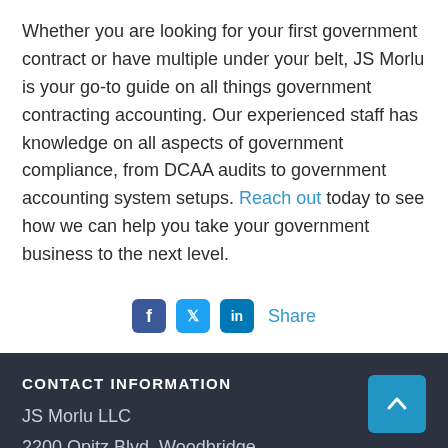Whether you are looking for your first government contract or have multiple under your belt, JS Morlu is your go-to guide on all things government contracting accounting. Our experienced staff has knowledge on all aspects of government compliance, from DCAA audits to government accounting system setups. Reach out today to see how we can help you take your government business to the next level.
[Figure (infographic): Social media share icons for Facebook, Twitter, LinkedIn followed by the word Share in blue]
CONTACT INFORMATION
JS Morlu LLC
2200 Opitz Blvd, Woodbridge